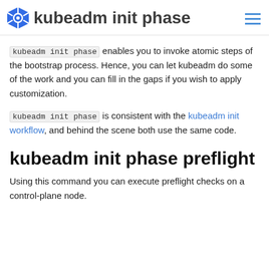kubeadm init phase
kubeadm init phase enables you to invoke atomic steps of the bootstrap process. Hence, you can let kubeadm do some of the work and you can fill in the gaps if you wish to apply customization.
kubeadm init phase is consistent with the kubeadm init workflow, and behind the scene both use the same code.
kubeadm init phase preflight
Using this command you can execute preflight checks on a control-plane node.